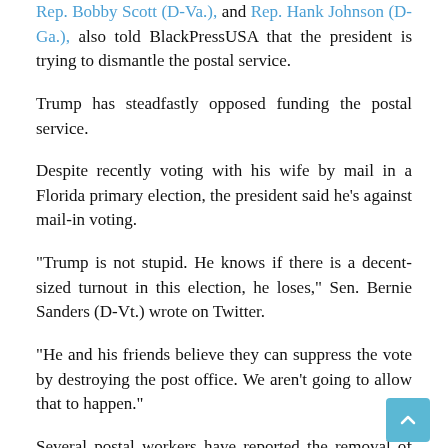Rep. Bobby Scott (D-Va.), and Rep. Hank Johnson (D-Ga.), also told BlackPressUSA that the president is trying to dismantle the postal service.
Trump has steadfastly opposed funding the postal service.
Despite recently voting with his wife by mail in a Florida primary election, the president said he’s against mail-in voting.
“Trump is not stupid. He knows if there is a decent-sized turnout in this election, he loses,” Sen. Bernie Sanders (D-Vt.) wrote on Twitter.
“He and his friends believe they can suppress the vote by destroying the post office. We aren’t going to allow that to happen.”
Several postal workers have reported the removal of sorting machines at postal facilities and the removal of sidewalk mailboxes.